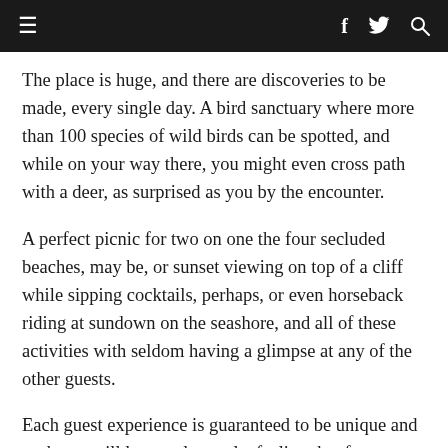≡   f  🐦  🔍
The place is huge, and there are discoveries to be made, every single day. A bird sanctuary where more than 100 species of wild birds can be spotted, and while on your way there, you might even cross path with a deer, as surprised as you by the encounter.
A perfect picnic for two on one the four secluded beaches, may be, or sunset viewing on top of a cliff while sipping cocktails, perhaps, or even horseback riding at sundown on the seashore, and all of these activities with seldom having a glimpse at any of the other guests.
Each guest experience is guaranteed to be unique and each one will leave reluctantly, feeling that for